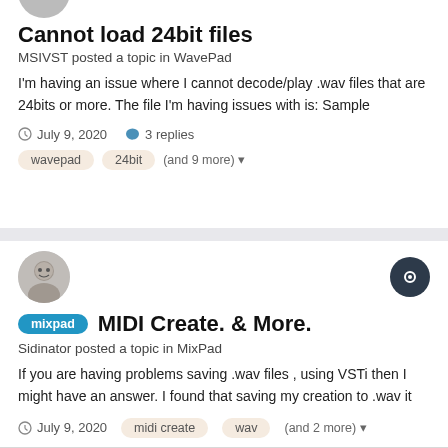Cannot load 24bit files
MSIVST posted a topic in WavePad
I'm having an issue where I cannot decode/play .wav files that are 24bits or more. The file I'm having issues with is: Sample
July 9, 2020   3 replies
wavepad
24bit
(and 9 more)
MIDI Create. & More.
Sidinator posted a topic in MixPad
If you are having problems saving .wav files , using VSTi then I might have an answer. I found that saving my creation to .wav it
July 9, 2020
midi create
wav
(and 2 more)